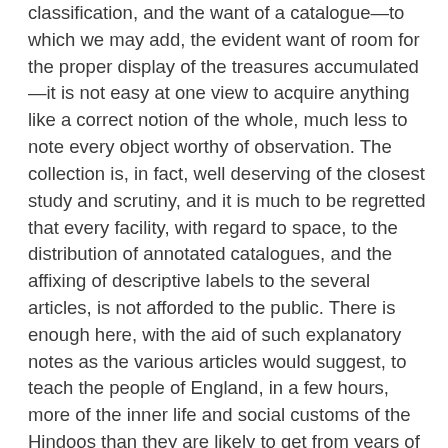classification, and the want of a catalogue—to which we may add, the evident want of room for the proper display of the treasures accumulated—it is not easy at one view to acquire anything like a correct notion of the whole, much less to note every object worthy of observation. The collection is, in fact, well deserving of the closest study and scrutiny, and it is much to be regretted that every facility, with regard to space, to the distribution of annotated catalogues, and the affixing of descriptive labels to the several articles, is not afforded to the public. There is enough here, with the aid of such explanatory notes as the various articles would suggest, to teach the people of England, in a few hours, more of the inner life and social customs of the Hindoos than they are likely to get from years of desultory reading, or, indeed, than is to be got at all from any existing published works. It is sometimes a subject of complaint that the popular mind of England has never been brought into contact with the popular mind of Hindostan. The complaint is just: as a mass, we know next to nothing of the hundred millions of Hindoos who are our fellow-subjects; we gaze with surprise and wonder at their industrial miracles—at their inimitable textile fabrics—at the proofs they send us of their unaccountable